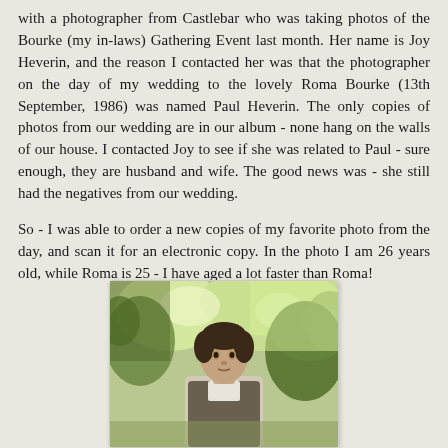with a photographer from Castlebar who was taking photos of the Bourke (my in-laws) Gathering Event last month. Her name is Joy Heverin, and the reason I contacted her was that the photographer on the day of my wedding to the lovely Roma Bourke (13th September, 1986) was named Paul Heverin. The only copies of photos from our wedding are in our album - none hang on the walls of our house. I contacted Joy to see if she was related to Paul - sure enough, they are husband and wife. The good news was - she still had the negatives from our wedding.
So - I was able to order a new copies of my favorite photo from the day, and scan it for an electronic copy. In the photo I am 26 years old, while Roma is 25 - I have aged a lot faster than Roma!
[Figure (photo): A wedding photo showing a young man with dark hair outdoors with trees and green foliage visible in the background.]